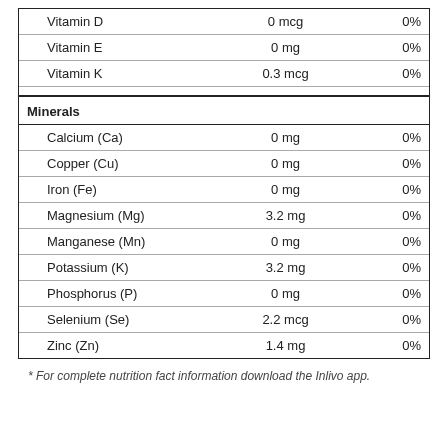| Nutrient | Amount | %DV |
| --- | --- | --- |
| Vitamin D | 0 mcg | 0% |
| Vitamin E | 0 mg | 0% |
| Vitamin K | 0.3 mcg | 0% |
| Minerals |  |  |
| Calcium (Ca) | 0 mg | 0% |
| Copper (Cu) | 0 mg | 0% |
| Iron (Fe) | 0 mg | 0% |
| Magnesium (Mg) | 3.2 mg | 0% |
| Manganese (Mn) | 0 mg | 0% |
| Potassium (K) | 3.2 mg | 0% |
| Phosphorus (P) | 0 mg | 0% |
| Selenium (Se) | 2.2 mcg | 0% |
| Zinc (Zn) | 1.4 mg | 0% |
* For complete nutrition fact information download the Inlivo app.